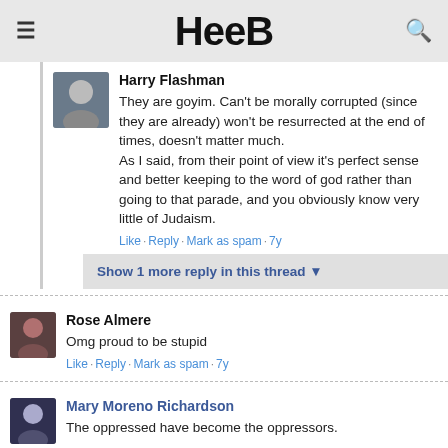Heeb
Harry Flashman
They are goyim. Can't be morally corrupted (since they are already) won't be resurrected at the end of times, doesn't matter much.
As I said, from their point of view it's perfect sense and better keeping to the word of god rather than going to that parade, and you obviously know very little of Judaism.
Like · Reply · Mark as spam · 7y
Show 1 more reply in this thread
Rose Almere
Omg proud to be stupid
Like · Reply · Mark as spam · 7y
Mary Moreno Richardson
The oppressed have become the oppressors.